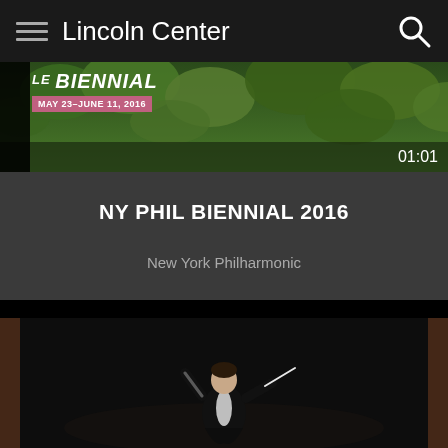Lincoln Center
[Figure (screenshot): Lincoln Center app screenshot showing NY Phil Biennial 2016 event page with a banner image of foliage, a video thumbnail of a conductor, and navigation elements]
NY PHIL BIENNIAL 2016
New York Philharmonic